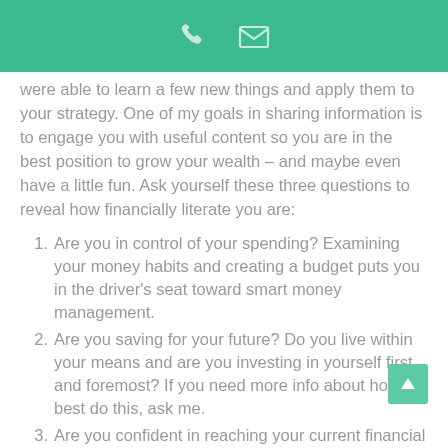[phone and email icons]
were able to learn a few new things and apply them to your strategy. One of my goals in sharing information is to engage you with useful content so you are in the best position to grow your wealth – and maybe even have a little fun. Ask yourself these three questions to reveal how financially literate you are:
Are you in control of your spending? Examining your money habits and creating a budget puts you in the driver's seat toward smart money management.
Are you saving for your future? Do you live within your means and are you investing in yourself first and foremost? If you need more info about how to best do this, ask me.
Are you confident in reaching your current financial goals? Listen to your gut, and act accordingly.
If you answered yes to all three of these questions, you're in